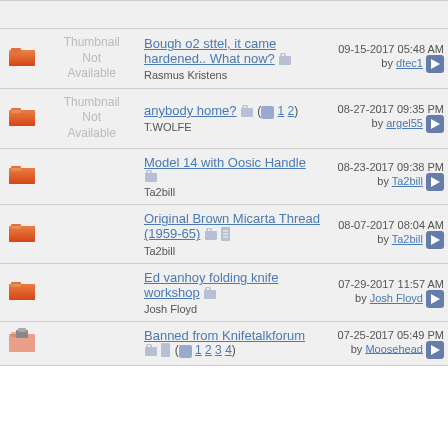|  | Thumbnail | Topic | Last Post |
| --- | --- | --- | --- |
| [icon] | Thumbnail Not Available | Bough o2 sttel, it came hardened.. What now?
Rasmus Kristens | 09-15-2017 05:48 AM by dtec1 |
| [icon] | Thumbnail Not Available | anybody home? (1 2)
T.WOLFE | 08-27-2017 09:35 PM by argel55 |
| [icon] |  | Model 14 with Oosic Handle
Ta2bill | 08-23-2017 09:38 PM by Ta2bill |
| [icon] |  | Original Brown Micarta Thread (1959-65)
Ta2bill | 08-07-2017 08:04 AM by Ta2bill |
| [icon] |  | Ed vanhoy folding knife workshop
Josh Floyd | 07-29-2017 11:57 AM by Josh Floyd |
| [icon] |  | Banned from Knifetalkforum (1 2 3 4) | 07-25-2017 05:49 PM by Moosehead |